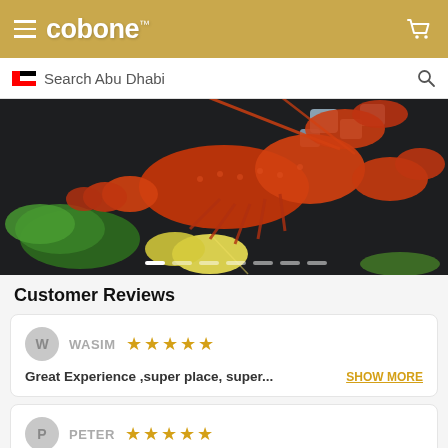cobone™
Search Abu Dhabi
[Figure (photo): A cooked red lobster on a dark surface with ice, lemon wedges, and green herbs (parsley, dill). Seafood presentation photo with carousel navigation dots at the bottom.]
Customer Reviews
W  WASIM ★★★★★
Great Experience ,super place, super...  SHOW MORE
P  PETER ★★★★★